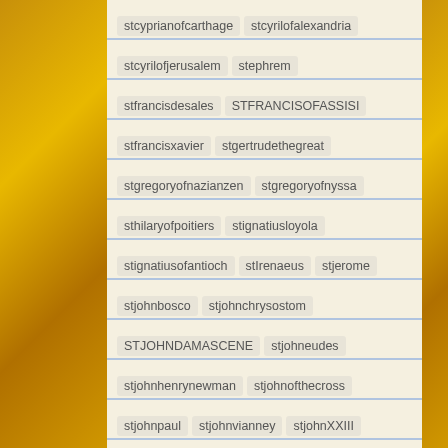stcyprianofcarthage stcyrilofalexandria
stcyrilofjerusalem stephrem
stfrancisdesales STFRANCISOFASSISI
stfrancisxavier stgertrudethegreat
stgregoryofnazianzen stgregoryofnyssa
sthilaryofpoitiers stignatiusloyola
stignatiusofantioch stIrenaeus stjerome
stjohnbosco stjohnchrysostom
STJOHNDAMASCENE stjohneudes
stjohnhenrynewman stjohnofthecross
stjohnpaul stjohnvianney stjohnXXIII
stjosemariaescriva stlouisdemontfort